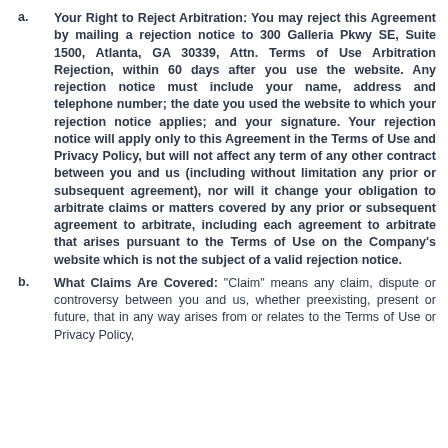Your Right to Reject Arbitration: You may reject this Agreement by mailing a rejection notice to 300 Galleria Pkwy SE, Suite 1500, Atlanta, GA 30339, Attn. Terms of Use Arbitration Rejection, within 60 days after you use the website. Any rejection notice must include your name, address and telephone number; the date you used the website to which your rejection notice applies; and your signature. Your rejection notice will apply only to this Agreement in the Terms of Use and Privacy Policy, but will not affect any term of any other contract between you and us (including without limitation any prior or subsequent agreement), nor will it change your obligation to arbitrate claims or matters covered by any prior or subsequent agreement to arbitrate, including each agreement to arbitrate that arises pursuant to the Terms of Use on the Company's website which is not the subject of a valid rejection notice.
What Claims Are Covered: "Claim" means any claim, dispute or controversy between you and us, whether preexisting, present or future, that in any way arises from or relates to the Terms of Use or Privacy Policy,